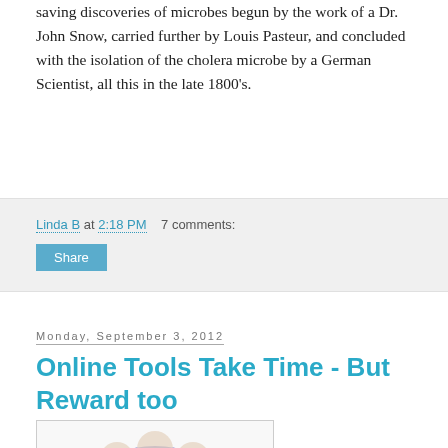saving discoveries of microbes begun by the work of a Dr. John Snow, carried further by Louis Pasteur, and concluded with the isolation of the cholera microbe by a German Scientist, all this in the late 1800's.
Linda B at 2:18 PM   7 comments:
Share
Monday, September 3, 2012
Online Tools Take Time - But Reward too
[Figure (illustration): A circular badge/logo with a purple/blue background with white polka dot circles around the border, and text reading 'Slice of LIFE' in the center.]